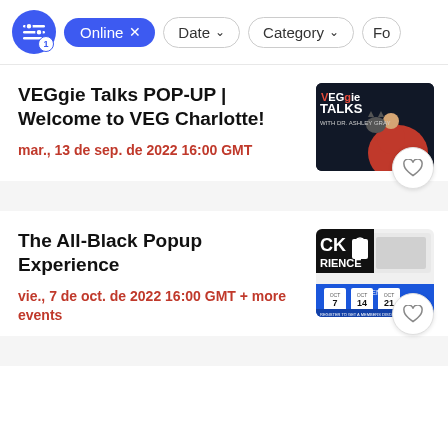Online × | Date ˅ | Category ˅ | Fo...
VEGgie Talks POP-UP | Welcome to VEG Charlotte!
mar., 13 de sep. de 2022 16:00 GMT
[Figure (illustration): VEGgie TALKS with Dr. Ashley Gray podcast cover art showing a person in red holding a cat, on dark background]
The All-Black Popup Experience
vie., 7 de oct. de 2022 16:00 GMT + more events
[Figure (illustration): The All-Black Popup Experience event poster showing CK Shopping and RIENCE text with event calendar dates OCT 7, OCT 14]